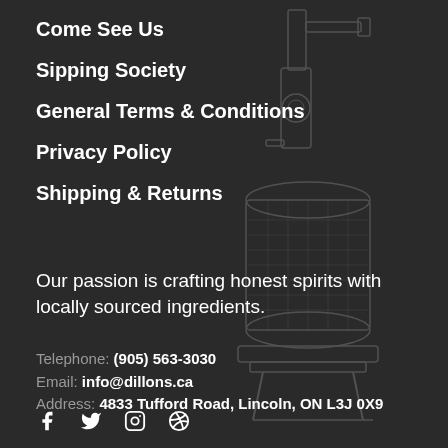Come See Us
Sipping Society
General Terms & Conditions
Privacy Policy
Shipping & Returns
[Figure (illustration): Faint line-art illustration of a distillery still/column apparatus on the right side of the page]
Our passion is crafting honest spirits with locally sourced ingredients.
Telephone: (905) 563-3030
Email: info@dillons.ca
Address: 4833 Tufford Road, Lincoln, ON L3J 0X9
[Figure (infographic): Social media icons: Facebook, Twitter, Instagram, Pinterest]